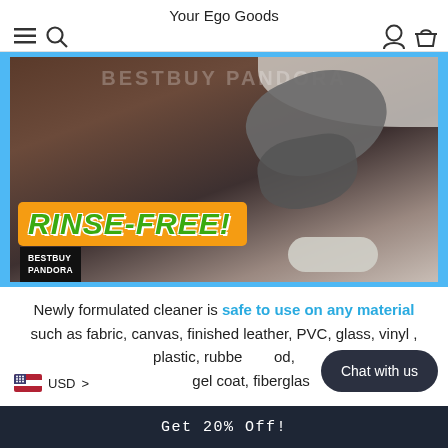Your Ego Goods
[Figure (photo): Product photo showing a hand wiping a car surface with a dark cloth, snow visible in background. Large text overlay reads RINSE-FREE! in green on orange background. BESTBUY PANDORA logo badge in bottom left.]
Newly formulated cleaner is safe to use on any material such as fabric, canvas, finished leather, PVC, glass, vinyl , plastic, rubber, wood, gel coat, fiberglas
USD
Chat with us
Get 20% Off!